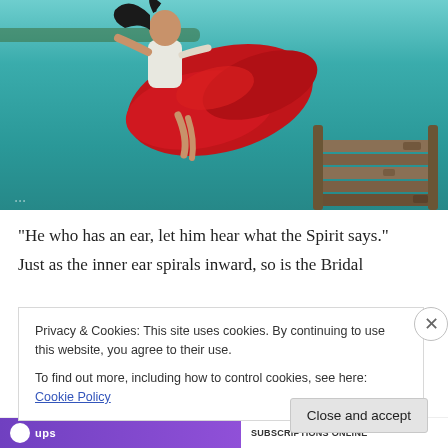[Figure (photo): A woman in a white top and flowing red dress appears to be floating/levitating above a wooden dock over teal-colored water. Her dark hair is flowing. The dock is made of weathered logs in the lower right. The background is a teal/turquoise body of water.]
“He who has an ear, let him hear what the Spirit says.” Just as the inner ear spirals inward, so is the Bridal
Privacy & Cookies: This site uses cookies. By continuing to use this website, you agree to their use.
To find out more, including how to control cookies, see here: Cookie Policy
Close and accept